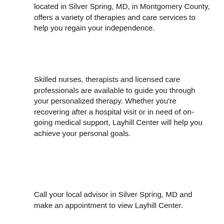located in Silver Spring, MD, in Montgomery County, offers a variety of therapies and care services to help you regain your independence.
Skilled nurses, therapists and licensed care professionals are available to guide you through your personalized therapy. Whether you’re recovering after a hospital visit or in need of on-going medical support, Layhill Center will help you achieve your personal goals.
Call your local advisor in Silver Spring, MD and make an appointment to view Layhill Center.
[Figure (other): Orange rounded rectangle button labeled 'Request Info' in white bold text]
[Figure (map): Google Maps screenshot showing the area around Layhill Center in Silver Spring MD. Map labels include 'ure World Blvd', 'ne Dr', and 'The Aspen Hill Club' with a location pin. A reCAPTCHA badge and 'Terms' label are visible on the right edge.]